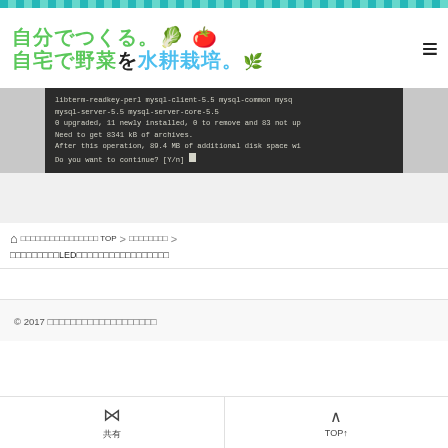自分でつくる。🥬🍅 自宅で野菜を水耕栽培。🌿
[Figure (screenshot): Terminal window showing apt-get install output with lines: libterm-readkey-perl mysql-client-5.5 mysql-common mysql-server-5.5 mysql-server-core-5.5 / 0 upgraded, 11 newly installed, 0 to remove and 83 not up... / Need to get 8341 kB of archives. / After this operation, 89.4 MB of additional disk space wi... / Do you want to continue? [Y/n]]
ホームアクアポニックスで水耕栽培 TOP > 植物育成ライト > □□□□□□□□□LED□□□□□□□□□□□□□
© 2017 □□□□□□□□□□□□□□□□□□
共有  TOP↑